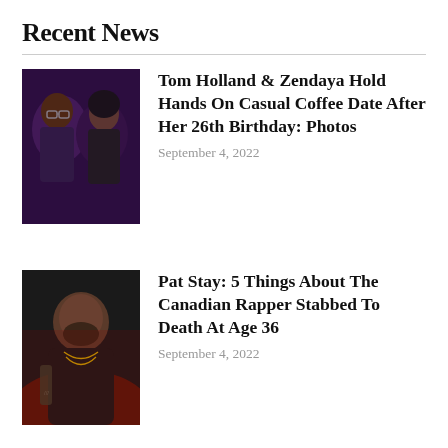Recent News
[Figure (photo): Tom Holland and Zendaya posing together at an event, dark background with purple lighting]
Tom Holland & Zendaya Hold Hands On Casual Coffee Date After Her 26th Birthday: Photos
September 4, 2022
[Figure (photo): Pat Stay, a bearded man with tattoos and gold chains, with red lighting]
Pat Stay: 5 Things About The Canadian Rapper Stabbed To Death At Age 36
September 4, 2022